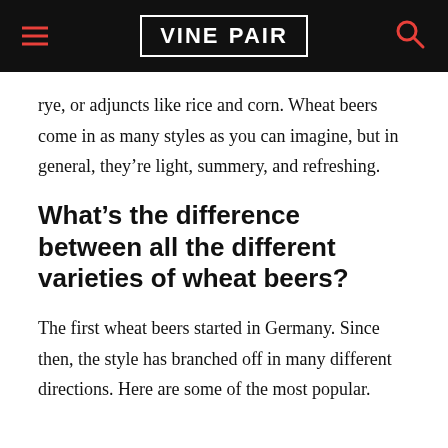VINEPAIR
rye, or adjuncts like rice and corn. Wheat beers come in as many styles as you can imagine, but in general, they’re light, summery, and refreshing.
What’s the difference between all the different varieties of wheat beers?
The first wheat beers started in Germany. Since then, the style has branched off in many different directions. Here are some of the most popular.